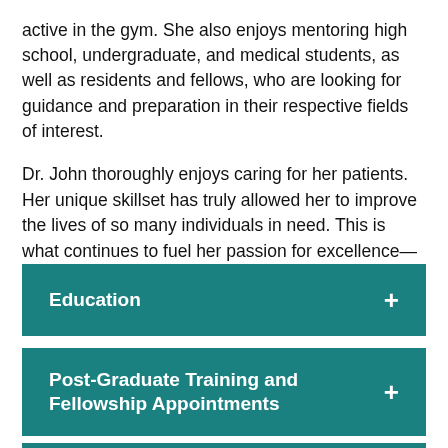active in the gym. She also enjoys mentoring high school, undergraduate, and medical students, as well as residents and fellows, who are looking for guidance and preparation in their respective fields of interest.
Dr. John thoroughly enjoys caring for her patients. Her unique skillset has truly allowed her to improve the lives of so many individuals in need. This is what continues to fuel her passion for excellence—her patients.
Education
Post-Graduate Training and Fellowship Appointments
Employment History